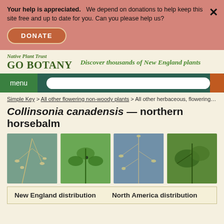Your help is appreciated. We depend on donations to help keep this site free and up to date for you. Can you please help us?
DONATE
Native Plant Trust GO BOTANY — Discover thousands of New England plants
menu
Simple Key > All other flowering non-woody plants > All other herbaceous, flowering dico
Collinsonia canadensis — northern horsebalm
[Figure (photo): Photo of Collinsonia canadensis plant 1 - dried seed heads on branches against blue-grey background]
[Figure (photo): Photo of Collinsonia canadensis plant 2 - green leaves with small dark insect]
[Figure (photo): Photo of Collinsonia canadensis plant 3 - dried seed heads on branches against blue-grey background]
[Figure (photo): Photo of Collinsonia canadensis plant 4 - green foliage]
New England distribution
North America distribution